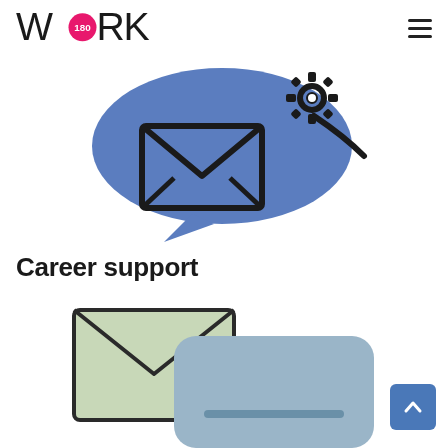WORK180 logo and navigation menu
[Figure (illustration): Blue speech bubble containing an envelope/email icon with a dark gear/cog icon in the upper right, representing career or job communication support]
Career support
[Figure (illustration): Two overlapping envelope icons — one light green and one light blue/grey — representing email or message communication, partially cropped at the bottom of the page]